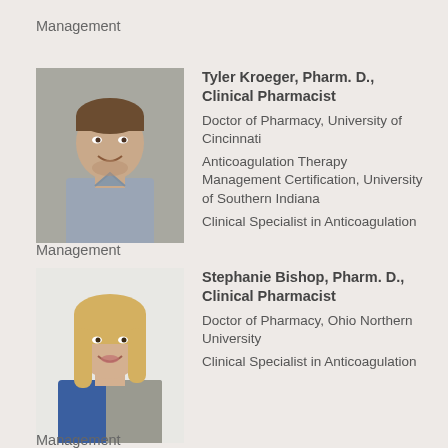Management
[Figure (photo): Headshot of Tyler Kroeger, a young man smiling, wearing a light blue collared shirt, photographed against a gray background.]
Tyler Kroeger, Pharm. D., Clinical Pharmacist
Doctor of Pharmacy, University of Cincinnati
Anticoagulation Therapy Management Certification, University of Southern Indiana
Clinical Specialist in Anticoagulation
Management
[Figure (photo): Headshot of Stephanie Bishop, a woman with blonde hair smiling, wearing a blue and gray top, photographed against a white background.]
Stephanie Bishop, Pharm. D., Clinical Pharmacist
Doctor of Pharmacy, Ohio Northern University
Clinical Specialist in Anticoagulation
Management